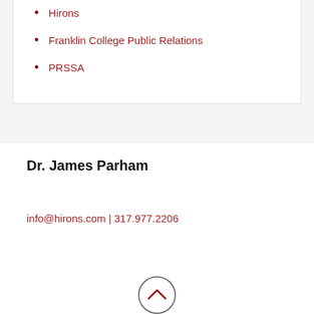Hirons
Franklin College Public Relations
PRSSA
Dr. James Parham
info@hirons.com | 317.977.2206